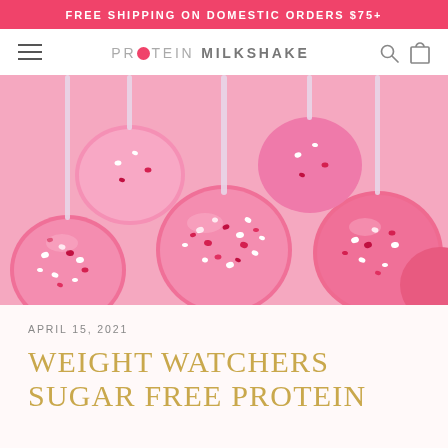FREE SHIPPING ON DOMESTIC ORDERS $75+
[Figure (logo): Protein Milkshake logo with hamburger menu, search icon, and cart icon navigation bar]
[Figure (photo): Close-up photograph of pink Valentine's Day cake pops covered in red and white heart sprinkles on sticks]
APRIL 15, 2021
WEIGHT WATCHERS SUGAR FREE PROTEIN